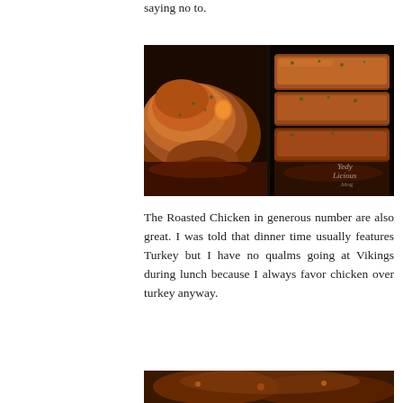saying no to.
[Figure (photo): Two close-up photos side by side of roasted chicken with herbs and spices, with a watermark reading 'Yedy Licious .blog']
The Roasted Chicken in generous number are also great. I was told that dinner time usually features Turkey but I have no qualms going at Vikings during lunch because I always favor chicken over turkey anyway.
[Figure (photo): Bottom portion of another food photo, cropped at the bottom of the page]